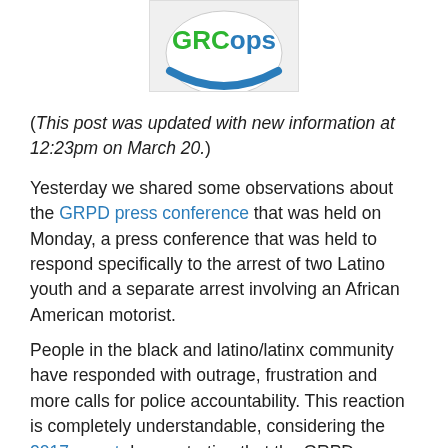[Figure (logo): GRCops logo — partial view showing 'GRCops' text in green and blue with a circular design on a light gray background]
(This post was updated with new information at 12:23pm on March 20.)
Yesterday we shared some observations about the GRPD press conference that was held on Monday, a press conference that was held to respond specifically to the arrest of two Latino youth and a separate arrest involving an African American motorist.
People in the black and latino/latinx community have responded with outrage, frustration and more calls for police accountability. This reaction is completely understandable, considering the 2017 report demonstrating that the GRPD engages in the racial